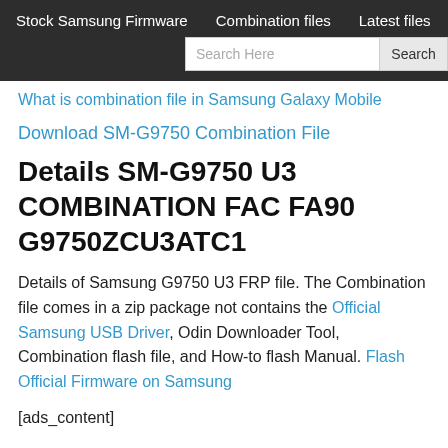Stock Samsung Firmware   Combination files   Latest files
What is combination file in Samsung Galaxy Mobile
Download SM-G9750 Combination File
Details SM-G9750 U3 COMBINATION FAC FA90 G9750ZCU3ATC1
Details of Samsung G9750 U3 FRP file. The Combination file comes in a zip package not contains the Official Samsung USB Driver, Odin Downloader Tool, Combination flash file, and How-to flash Manual. Flash Official Firmware on Samsung
[ads_content]